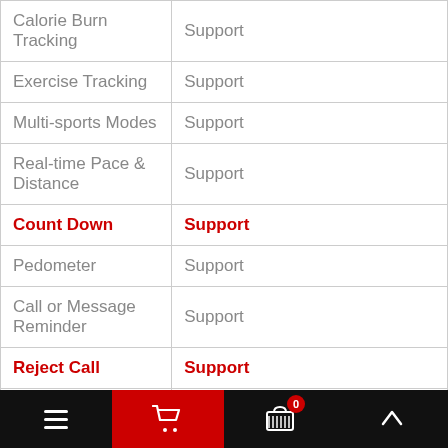| Feature | Value |
| --- | --- |
| Calorie Burn Tracking | Support |
| Exercise Tracking | Support |
| Multi-sports Modes | Support |
| Real-time Pace & Distance | Support |
| Count Down | Support |
| Pedometer | Support |
| Call or Message Reminder | Support |
| Reject Call | Support |
| Notification | Support |
| Alert Type | Vibration |
| Auto Light-up Screen | Support |
Navigation bar with menu, cart, basket (0), and up arrow